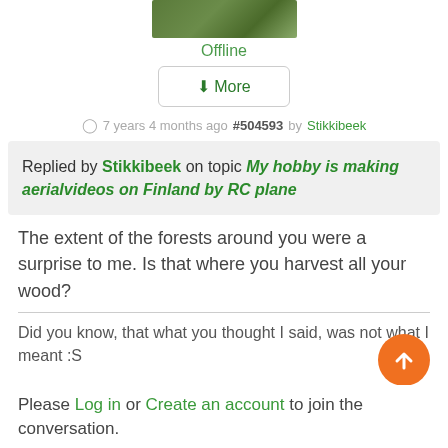[Figure (photo): Partial avatar/profile photo showing grass and animal, cropped at top]
Offline
▼More
🕐 7 years 4 months ago #504593 by Stikkibeek
Replied by Stikkibeek on topic My hobby is making aerialvideos on Finland by RC plane
The extent of the forests around you were a surprise to me. Is that where you harvest all your wood?
Did you know, that what you thought I said, was not what I meant :S
Please Log in or Create an account to join the conversation.